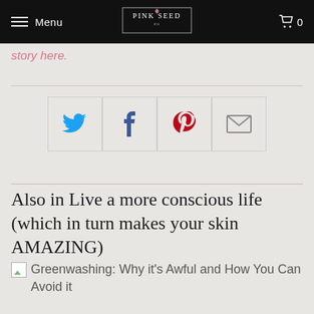Menu | PINK SEED | 0
story here.
[Figure (infographic): Social sharing buttons row: Twitter (blue bird), Facebook (dark blue f), Pinterest (red P), Email (envelope icon)]
Also in Live a more conscious life (which in turn makes your skin AMAZING)
Greenwashing: Why it's Awful and How You Can Avoid it